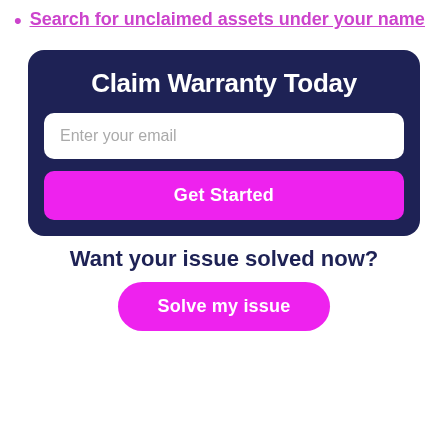Search for unclaimed assets under your name
Claim Warranty Today
Enter your email
Get Started
Want your issue solved now?
Solve my issue